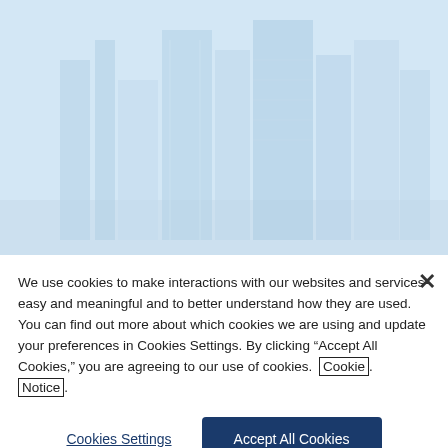[Figure (photo): Blue-tinted city skyline with glass skyscrapers as background image]
CORPORATE COMMONS / RE...
We use cookies to make interactions with our websites and services easy and meaningful and to better understand how they are used. You can find out more about which cookies we are using and update your preferences in Cookies Settings. By clicking “Accept All Cookies,” you are agreeing to our use of cookies. Cookie Notice.
Cookies Settings
Accept All Cookies